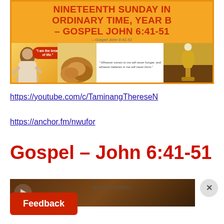[Figure (illustration): Banner image with orange background showing title 'NINETEENTH SUNDAY IN ORDINARY TIME, YEAR B – GOSPEL JOHN 6:41-51', with illustration of Jesus, bread loaves, a quote, and a chalice with communion elements]
https://youtube.com/c/TaminangThereseN
https://anchor.fm/nwufor
Gospel – John 6:41-51
[Figure (screenshot): Video thumbnail partially visible at bottom of page]
Advertisements
Feedback